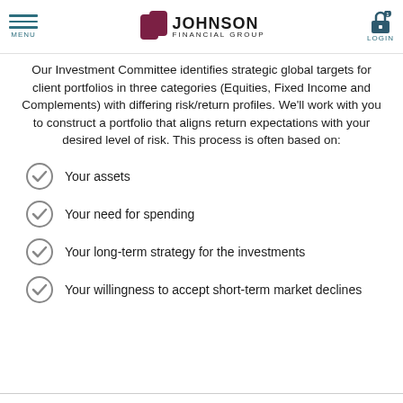MENU | JOHNSON FINANCIAL GROUP | LOGIN
Our Investment Committee identifies strategic global targets for client portfolios in three categories (Equities, Fixed Income and Complements) with differing risk/return profiles. We'll work with you to construct a portfolio that aligns return expectations with your desired level of risk. This process is often based on:
Your assets
Your need for spending
Your long-term strategy for the investments
Your willingness to accept short-term market declines